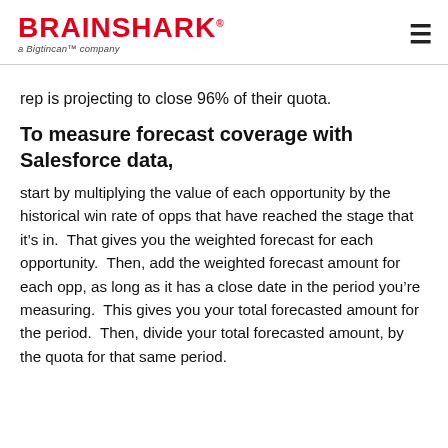BRAINSHARK a Bigtincan™ company
rep is projecting to close 96% of their quota.
To measure forecast coverage with Salesforce data,
start by multiplying the value of each opportunity by the historical win rate of opps that have reached the stage that it's in.  That gives you the weighted forecast for each opportunity.  Then, add the weighted forecast amount for each opp, as long as it has a close date in the period you're measuring.  This gives you your total forecasted amount for the period.  Then, divide your total forecasted amount, by the quota for that same period.